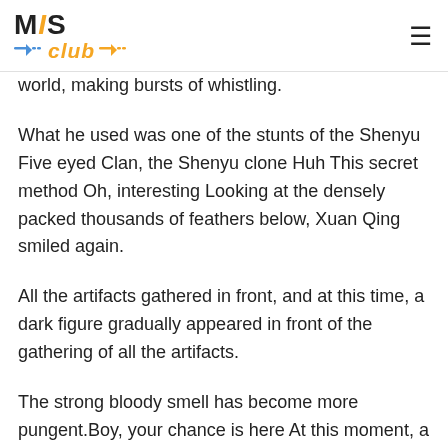MIS Club
world, making bursts of whistling.
What he used was one of the stunts of the Shenyu Five eyed Clan, the Shenyu clone Huh This secret method Oh, interesting Looking at the densely packed thousands of feathers below, Xuan Qing smiled again.
All the artifacts gathered in front, and at this time, a dark figure gradually appeared in front of the gathering of all the artifacts.
The strong bloody smell has become more pungent.Boy, your chance is here At this moment, a deep voice suddenly sounded in Shi Feng is mind.
At this moment, in the workshop, except for Yue Kui